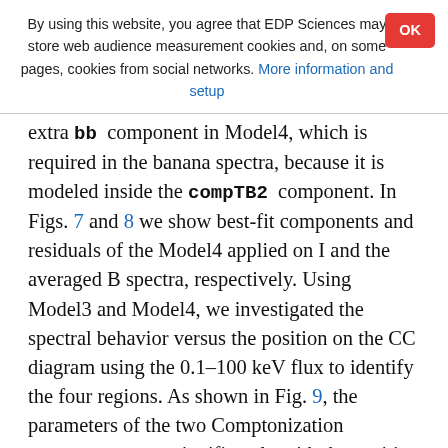By using this website, you agree that EDP Sciences may store web audience measurement cookies and, on some pages, cookies from social networks. More information and setup
extra bb component in Model4, which is required in the banana spectra, because it is modeled inside the compTB2 component. In Figs. 7 and 8 we show best-fit components and residuals of the Model4 applied on I and the averaged B spectra, respectively. Using Model3 and Model4, we investigated the spectral behavior versus the position on the CC diagram using the 0.1–100 keV flux to identify the four regions. As shown in Fig. 9, the parameters of the two Comptonization components vary significantly with the position along the CC track. We also studied the relation between the spectral index α₁ of the first compTB and its normalization N_c1. This is shown in Fig. 10